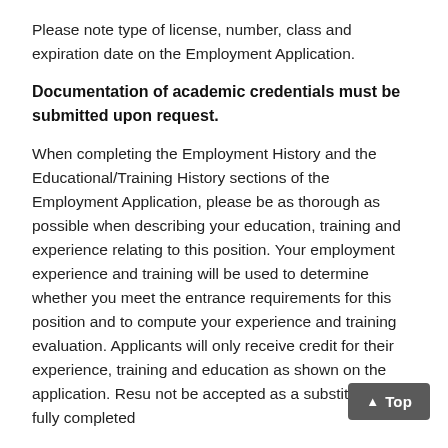Please note type of license, number, class and expiration date on the Employment Application.
Documentation of academic credentials must be submitted upon request.
When completing the Employment History and the Educational/Training History sections of the Employment Application, please be as thorough as possible when describing your education, training and experience relating to this position. Your employment experience and training will be used to determine whether you meet the entrance requirements for this position and to compute your experience and training evaluation. Applicants will only receive credit for their experience, training and education as shown on the application. Resu not be accepted as a substitute to a fully completed